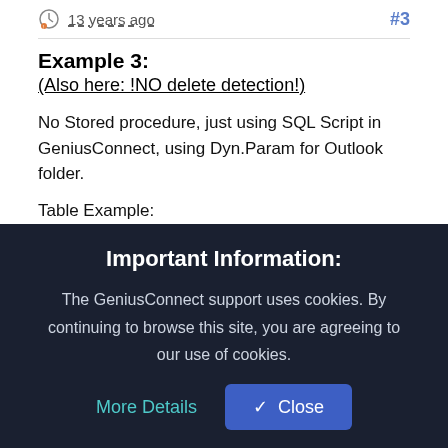13 years ago  #3
Example 3:
(Also here: !NO delete detection!)
No Stored procedure, just using SQL Script in GeniusConnect, using Dyn.Param for Outlook folder.
Table Example:
[Figure (screenshot): Dark code block showing SQL: CREATE TABLE LastSyncTable(Folder…]
Important Information:
The GeniusConnect support uses cookies. By continuing to browse this site, you are agreeing to our use of cookies.
More Details
Close